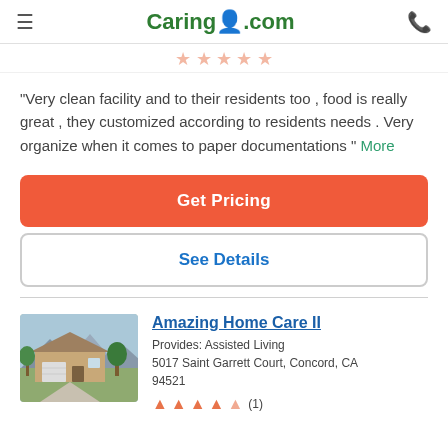Caring.com
"Very clean facility and to their residents too , food is really great , they customized according to residents needs . Very organize when it comes to paper documentations " More
Get Pricing
See Details
Amazing Home Care II
Provides: Assisted Living
5017 Saint Garrett Court, Concord, CA 94521
[Figure (photo): Exterior photo of a single-story residential home with a driveway, trees, and a mountain backdrop.]